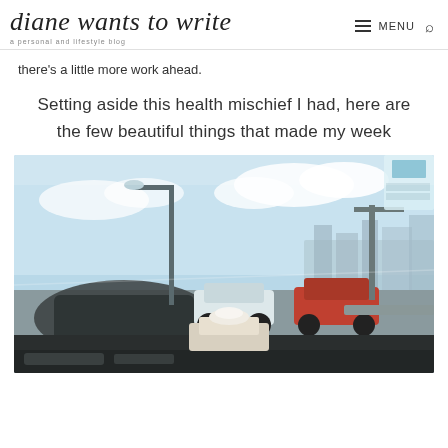diane wants to write — a personal and lifestyle blog | MENU
there's a little more work ahead.
Setting aside this health mischief I had, here are the few beautiful things that made my week
[Figure (photo): View from inside a car on a busy elevated highway, showing traffic ahead with cars including a white sedan and red car, city buildings in the background, blue sky with clouds, and a tissue box on the dashboard.]